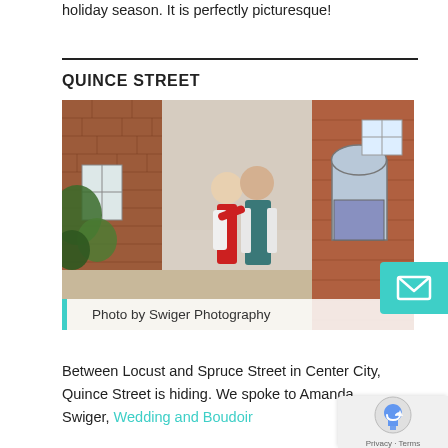holiday season. It is perfectly picturesque!
QUINCE STREET
[Figure (photo): A couple embracing on a narrow brick-lined street with historic row houses, green plants climbing walls, a purple door visible in the background.]
Photo by Swiger Photography
Between Locust and Spruce Street in Center City, Quince Street is hiding. We spoke to Amanda Swiger, Wedding and Boudoir